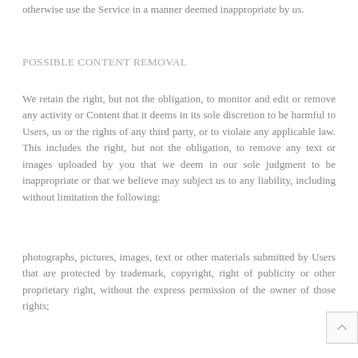otherwise use the Service in a manner deemed inappropriate by us.
POSSIBLE CONTENT REMOVAL
We retain the right, but not the obligation, to monitor and edit or remove any activity or Content that it deems in its sole discretion to be harmful to Users, us or the rights of any third party, or to violate any applicable law. This includes the right, but not the obligation, to remove any text or images uploaded by you that we deem in our sole judgment to be inappropriate or that we believe may subject us to any liability, including without limitation the following:
photographs, pictures, images, text or other materials submitted by Users that are protected by trademark, copyright, right of publicity or other proprietary right, without the express permission of the owner of those rights;